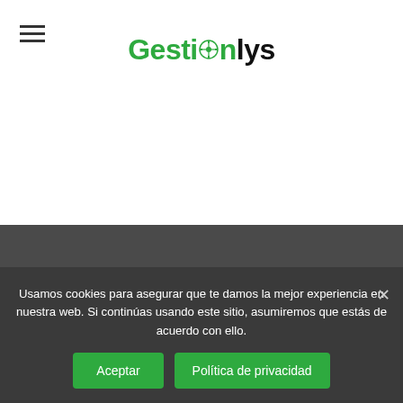[Figure (logo): GestiónLys logo with hamburger menu icon on the left. The logo text shows 'Gestión' in green and 'lys' in black with a compass/flower icon replacing the 'ó'.]
Usamos cookies para asegurar que te damos la mejor experiencia en nuestra web. Si continúas usando este sitio, asumiremos que estás de acuerdo con ello.
Aceptar
Política de privacidad